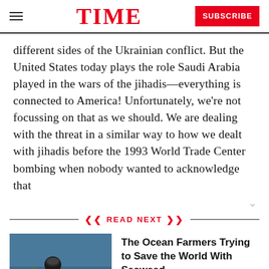TIME | SUBSCRIBE
different sides of the Ukrainian conflict. But the United States today plays the role Saudi Arabia played in the wars of the jihadis—everything is connected to America! Unfortunately, we're not focussing on that as we should. We are dealing with the threat in a similar way to how we dealt with jihadis before the 1993 World Trade Center bombing when nobody wanted to acknowledge that
READ NEXT
[Figure (photo): A person in a wetsuit or dark outdoor clothing working near water, likely handling seaweed or marine vegetation.]
The Ocean Farmers Trying to Save the World With Seaweed